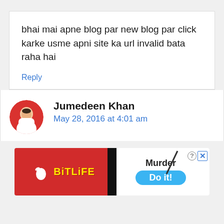bhai mai apne blog par new blog par click karke usme apni site ka url invalid bata raha hai
Reply
Jumedeen Khan
May 28, 2016 at 4:01 am
[Figure (screenshot): BitLife advertisement banner with red background on left showing BitLife logo with sperm cell icon and yellow text, black vertical divider, white right side showing 'Murder' text, 'Do it!' blue pill button, and close/help icons in top right corner]